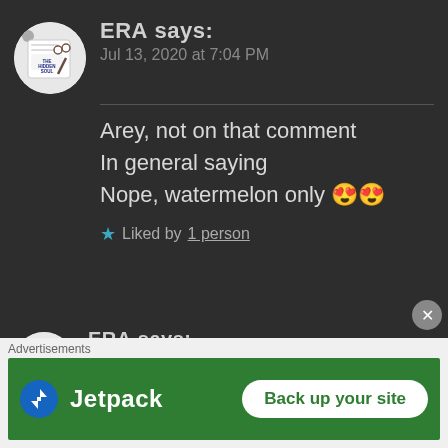[Figure (screenshot): Blog comment section screenshot with dark background showing two comments by ERA, each with The Hidden Soul avatar, plus a Jetpack advertisement banner at the bottom]
ERA says:
Jul 13, 2020 at 7:04 PM

Arey, not on that comment
In general saying
Nope, watermelon only 😍😍

★ Liked by 1 person
ERA says:
Jul 13, 2020 at 7:13 PM

Have you replied something, I
Advertisements
Jetpack   Back up your site